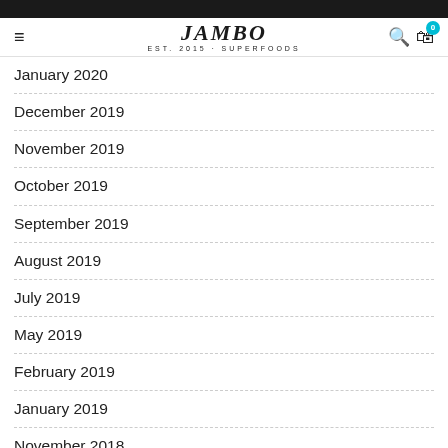Jambo Superfoods – Navigation Header
January 2020
December 2019
November 2019
October 2019
September 2019
August 2019
July 2019
May 2019
February 2019
January 2019
November 2018
October 2018
September 2018